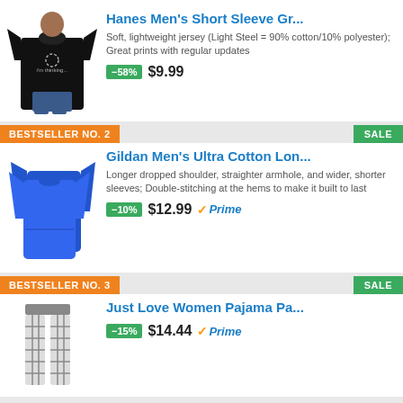[Figure (photo): Black t-shirt worn by a man, product photo for Hanes Men's Short Sleeve]
Hanes Men's Short Sleeve Gr...
Soft, lightweight jersey (Light Steel = 90% cotton/10% polyester); Great prints with regular updates
-58%  $9.99
BESTSELLER NO. 2
SALE
[Figure (photo): Blue long sleeve shirts, two folded together, product photo for Gildan Men's Ultra Cotton]
Gildan Men's Ultra Cotton Lon...
Longer dropped shoulder, straighter armhole, and wider, shorter sleeves; Double-stitching at the hems to make it built to last
-10%  $12.99  Prime
BESTSELLER NO. 3
SALE
[Figure (photo): Plaid pajama pants product photo for Just Love Women Pajama Pants]
Just Love Women Pajama Pa...
-15%  $14.44  Prime